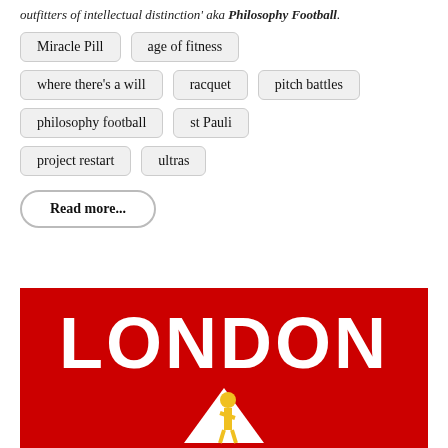outfitters of intellectual distinction' aka Philosophy Football.
Miracle Pill
age of fitness
where there's a will
racquet
pitch battles
philosophy football
st Pauli
project restart
ultras
Read more...
[Figure (illustration): Red background image with large white bold uppercase text 'LONDON' and below it a white triangle with a yellow figure/person shape]